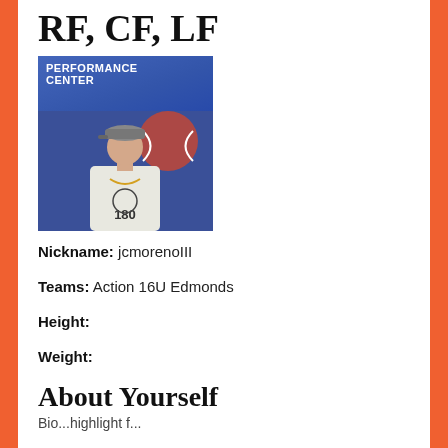RF, CF, LF
[Figure (photo): Young male athlete wearing a white long sleeve shirt and a baseball cap, standing in front of a blue and white banner reading 'PERFORMANCE CENTER'. He is wearing a gold chain necklace and the shirt has '180' printed on it.]
Nickname: jcmorenoIII
Teams: Action 16U Edmonds
Height:
Weight:
About Yourself
Bio...highlight f...